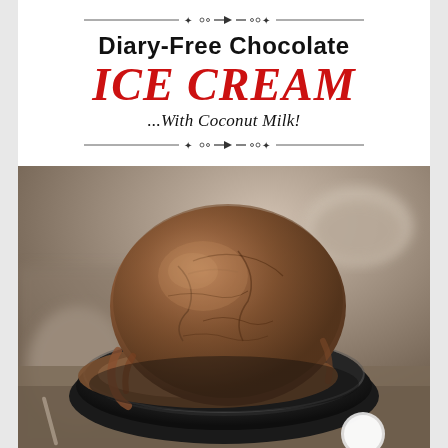Diary-Free Chocolate ICE CREAM ...With Coconut Milk!
[Figure (photo): A scoop of chocolate ice cream in a dark bowl, photographed close-up with a blurred background showing another bowl]